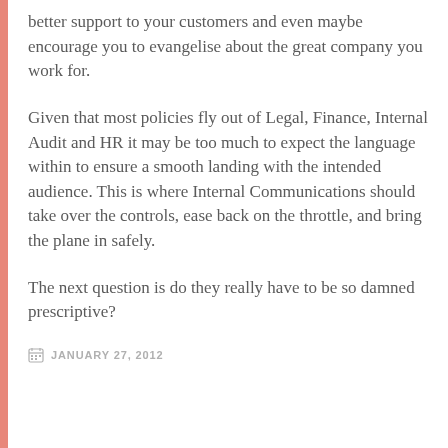better support to your customers and even maybe encourage you to evangelise about the great company you work for.
Given that most policies fly out of Legal, Finance, Internal Audit and HR it may be too much to expect the language within to ensure a smooth landing with the intended audience. This is where Internal Communications should take over the controls, ease back on the throttle, and bring the plane in safely.
The next question is do they really have to be so damned prescriptive?
JANUARY 27, 2012